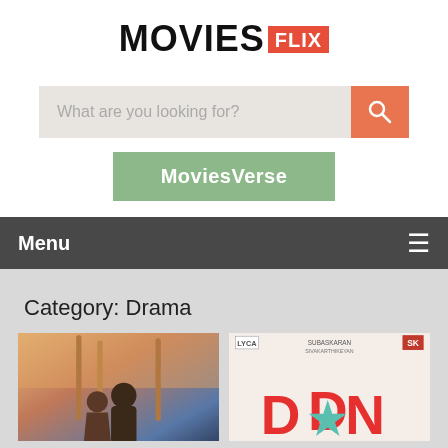[Figure (logo): MOVIESFLIX logo with FLIX in red box]
[Figure (screenshot): Search bar with placeholder text 'What are you looking for?' and orange search button]
[Figure (screenshot): Green button labeled MoviesVerse]
Menu
Category: Drama
[Figure (photo): Movie poster thumbnail on left - two people with sticks/poles, pinkish sky background]
[Figure (photo): Movie poster thumbnail on right - DON movie poster with red letters and teal star, LYCA and SK logos at top]